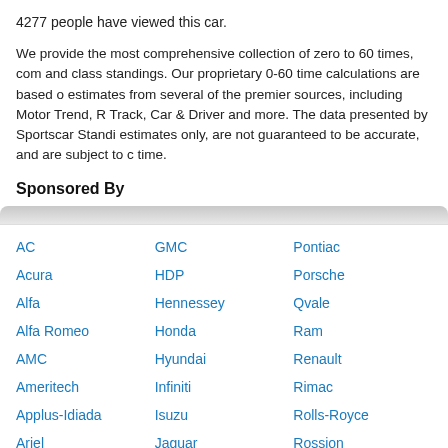4277 people have viewed this car.
We provide the most comprehensive collection of zero to 60 times, com and class standings. Our proprietary 0-60 time calculations are based o estimates from several of the premier sources, including Motor Trend, R Track, Car & Driver and more. The data presented by Sportscar Standi estimates only, are not guaranteed to be accurate, and are subject to c time.
Sponsored By
AC
GMC
Pontiac
Acura
HDP
Porsche
Alfa
Hennessey
Qvale
Alfa Romeo
Honda
Ram
AMC
Hyundai
Renault
Ameritech
Infiniti
Rimac
Applus-Idiada
Isuzu
Rolls-Royce
Ariel
Jaguar
Rossion